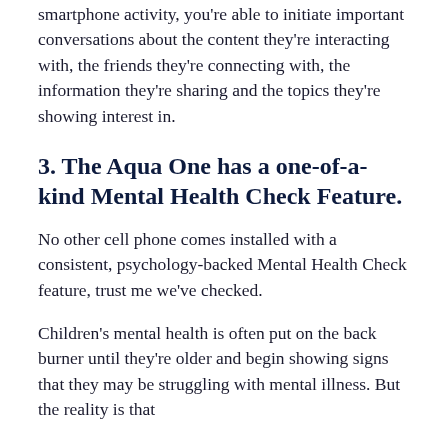smartphone activity, you're able to initiate important conversations about the content they're interacting with, the friends they're connecting with, the information they're sharing and the topics they're showing interest in.
3. The Aqua One has a one-of-a-kind Mental Health Check Feature.
No other cell phone comes installed with a consistent, psychology-backed Mental Health Check feature, trust me we've checked.
Children's mental health is often put on the back burner until they're older and begin showing signs that they may be struggling with mental illness. But the reality is that